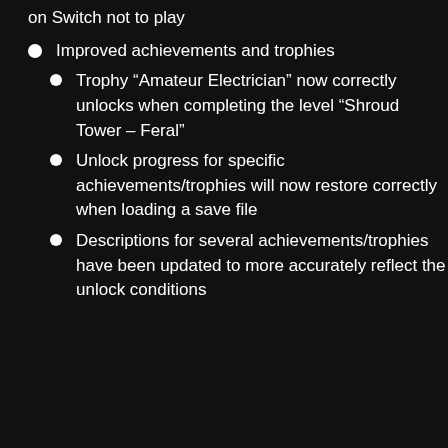on Switch not to play
Improved achievements and trophies
Trophy “Amateur Electrician” now correctly unlocks when completing the level “Shroud Tower – Feral”
Unlock progress for specific achievements/trophies will now restore correctly when loading a save file
Descriptions for several achievements/trophies have been updated to more accurately reflect the unlock conditions